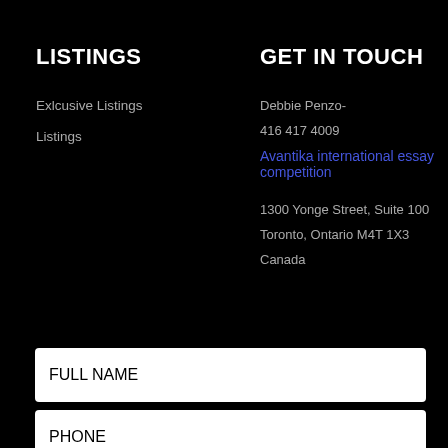LISTINGS
GET IN TOUCH
Exlcusive Listings
Listings
Debbie Penzo-
416 417 4009
Avantika international essay competition
1300 Yonge Street, Suite 100
Toronto, Ontario M4T 1X3
Canada
FULL NAME
PHONE